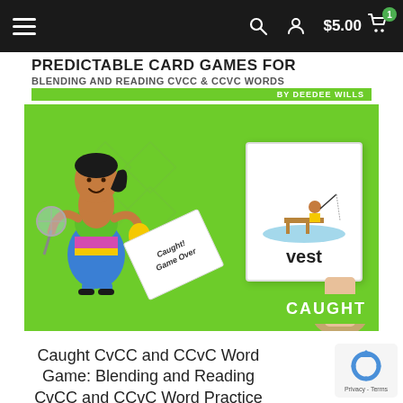≡   🔍  👤  $5.00  🛒 1
[Figure (illustration): Educational card game product image. Green background with title 'PREDICTABLE CARD GAMES FOR BLENDING AND READING CVCC & CCVC WORDS by DeeDee Wills'. Shows cartoon girl holding butterfly net, a white word card with fishing illustration and word 'vest', a 'Caught! Game Over' card, and 'CAUGHT' label at bottom right.]
Caught CvCC and CCvC Word Game: Blending and Reading CvCC and CCvC Word Practice